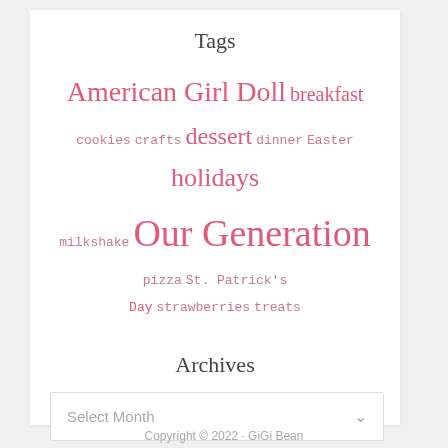Tags
American Girl Doll breakfast cookies crafts dessert dinner Easter holidays milkshake Our Generation pizza St. Patrick's Day strawberries treats
Archives
Select Month
Copyright © 2022 · GiGi Bean